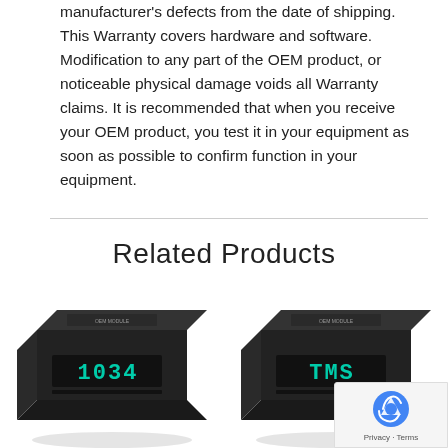manufacturer's defects from the date of shipping. This Warranty covers hardware and software. Modification to any part of the OEM product, or noticeable physical damage voids all Warranty claims. It is recommended that when you receive your OEM product, you test it in your equipment as soon as possible to confirm function in your equipment.
Related Products
[Figure (photo): Black electronic display device showing '1034' in green LED digits]
[Figure (photo): Black electronic display device showing 'TMS' in green LED digits]